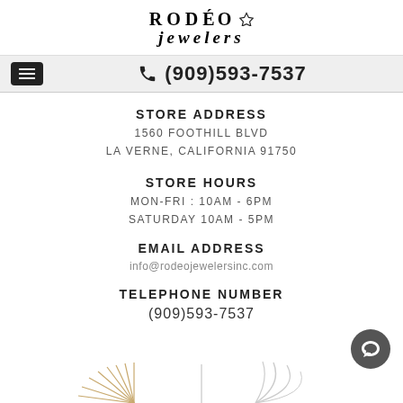[Figure (logo): Rodeo Jewelers logo with diamond icon]
(909)593-7537
STORE ADDRESS
1560 FOOTHILL BLVD
LA VERNE, CALIFORNIA 91750
STORE HOURS
MON-FRI : 10AM - 6PM
SATURDAY 10AM - 5PM
EMAIL ADDRESS
info@rodeojewelersinc.com
TELEPHONE NUMBER
(909)593-7537
[Figure (illustration): Decorative feather/leaf ornament at bottom of page]